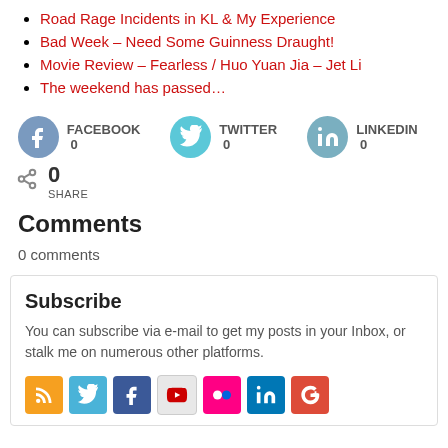Road Rage Incidents in KL & My Experience
Bad Week – Need Some Guinness Draught!
Movie Review – Fearless / Huo Yuan Jia – Jet Li
The weekend has passed…
[Figure (infographic): Social share buttons: Facebook 0, Twitter 0, LinkedIn 0, and a share icon with 0 count]
Comments
0 comments
Subscribe
You can subscribe via e-mail to get my posts in your Inbox, or stalk me on numerous other platforms.
[Figure (infographic): Row of social media icons: RSS, Twitter, Facebook, YouTube, Flickr, LinkedIn, Google+]